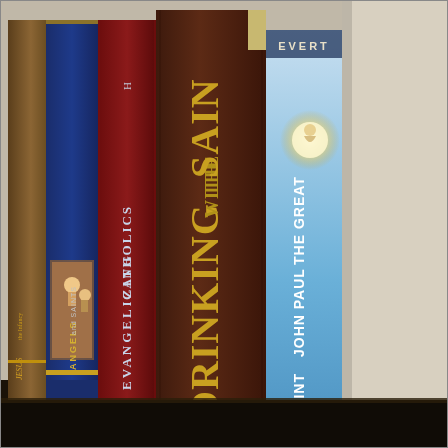[Figure (photo): A photograph of several Catholic religious books arranged on a shelf, spines facing outward. Visible titles from left to right include: a partially visible book with gold text (likely 'Jesus the Infancy'), 'Angels and Saints' (blue spine, by Scott), 'Evangelizing Catholics' (red spine), 'Drinking with the Saints' (brown/dark red spine with gold lettering), and 'Saint John Paul the Great' by Evert (blue spine with an image of a glowing figure).]